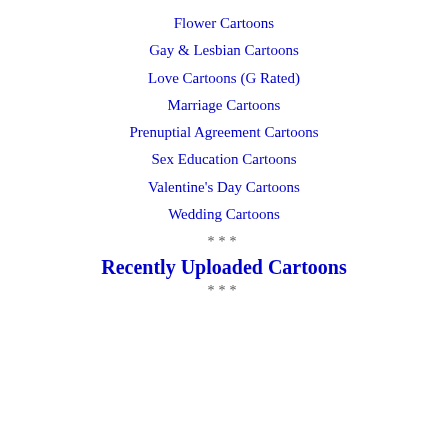Flower Cartoons
Gay & Lesbian Cartoons
Love Cartoons (G Rated)
Marriage Cartoons
Prenuptial Agreement Cartoons
Sex Education Cartoons
Valentine's Day Cartoons
Wedding Cartoons
***
Recently Uploaded Cartoons
***